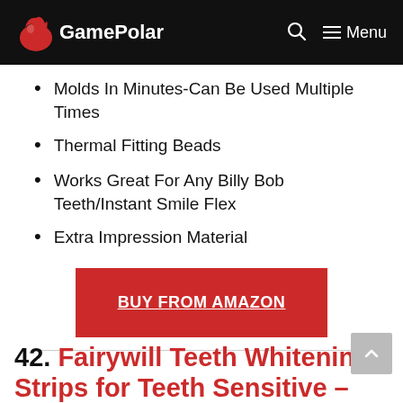GamePolar
Molds In Minutes-Can Be Used Multiple Times
Thermal Fitting Beads
Works Great For Any Billy Bob Teeth/Instant Smile Flex
Extra Impression Material
BUY FROM AMAZON
42. Fairywill Teeth Whitening Strips for Teeth Sensitive –